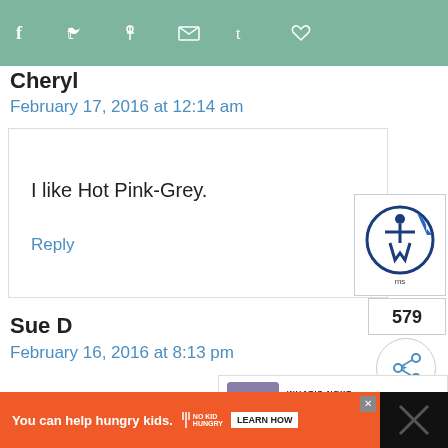[Figure (screenshot): Social share bar with icons for Facebook, Twitter, Pinterest, Email, Tumblr, and heart/like button on teal/sage green background]
Cheryl
February 17, 2016 at 12:14 am
I like Hot Pink-Grey.
Reply
Sue D
February 16, 2016 at 8:13 pm
[Figure (screenshot): Accessibility widget button showing wheelchair icon in blue circle with arrow]
579
[Figure (screenshot): Share button with plus icon]
[Figure (screenshot): What's Next panel with thumbnail - News and New Things We'r...]
[Figure (screenshot): Orange advertisement banner: You can help hungry kids. No Kid Hungry logo. LEARN HOW button. Close X button.]